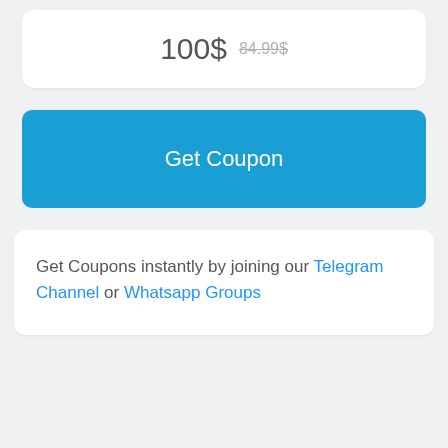100$ 84.99$
Get Coupon
Get Coupons instantly by joining our Telegram Channel or Whatsapp Groups